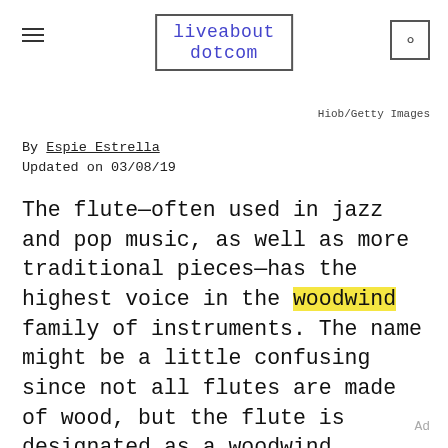liveabout dotcom
Hiob/Getty Images
By Espie Estrella
Updated on 03/08/19
The flute—often used in jazz and pop music, as well as more traditional pieces—has the highest voice in the woodwind family of instruments. The name might be a little confusing since not all flutes are made of wood, but the flute is designated as a woodwind instrument due to the way it produces sound.
Ad